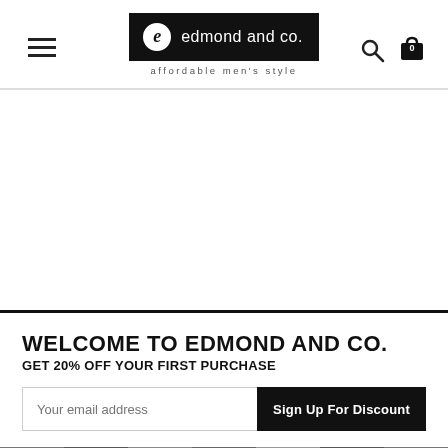[Figure (logo): Edmond and Co. logo with hamburger menu, search icon, and bag icon with 0 count. Logo shows stylized 'e' in circle with 'edmond and co.' text and tagline 'affordable men's style']
WELCOME TO EDMOND AND CO.
GET 20% OFF YOUR FIRST PURCHASE
Your email address
Sign Up For Discount
[Figure (photo): Strip of product thumbnail images showing bags and accessories]